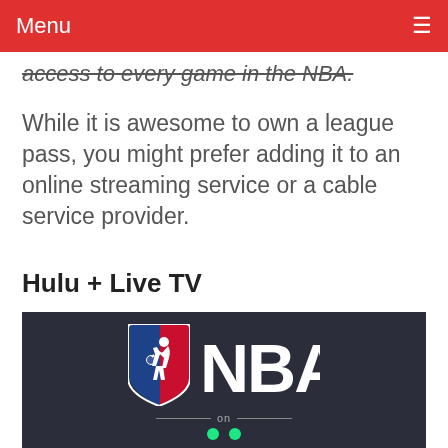Menu ≡
access to every game in the NBA.
While it is awesome to own a league pass, you might prefer adding it to an online streaming service or a cable service provider.
Hulu + Live TV
[Figure (logo): NBA logo (basketball player silhouette in red and blue shield) with the text 'NBA' in white, on a dark navy background, with 'on' text and Hulu branding dots below]